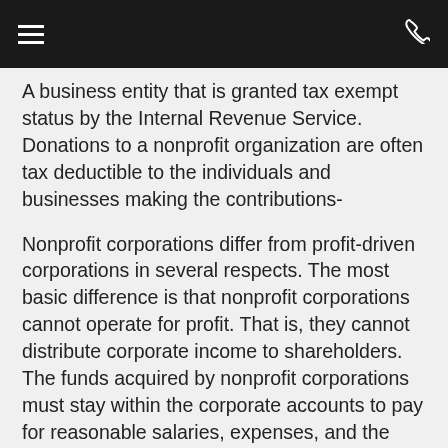≡  [phone icon]
A business entity that is granted tax exempt status by the Internal Revenue Service. Donations to a nonprofit organization are often tax deductible to the individuals and businesses making the contributions-
Nonprofit corporations differ from profit-driven corporations in several respects. The most basic difference is that nonprofit corporations cannot operate for profit. That is, they cannot distribute corporate income to shareholders. The funds acquired by nonprofit corporations must stay within the corporate accounts to pay for reasonable salaries, expenses, and the activities of the corporation. Salaries are not considered personal benefits because they are necessary for the operation of the corporation.)